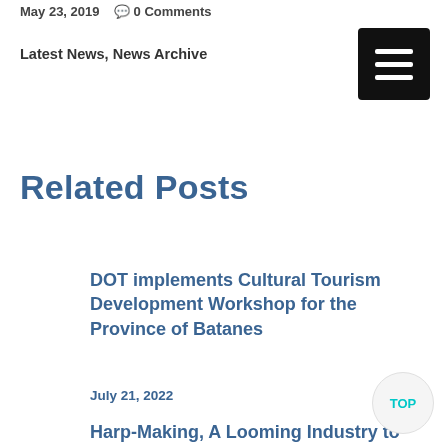May 23, 2019   0 Comments
Latest News, News Archive
[Figure (other): Hamburger menu button icon (three white horizontal lines on black background)]
Related Posts
DOT implements Cultural Tourism Development Workshop for the Province of Batanes
July 21, 2022
Harp-Making, A Looming Industry to Boost Tourism in Cagayan Valley